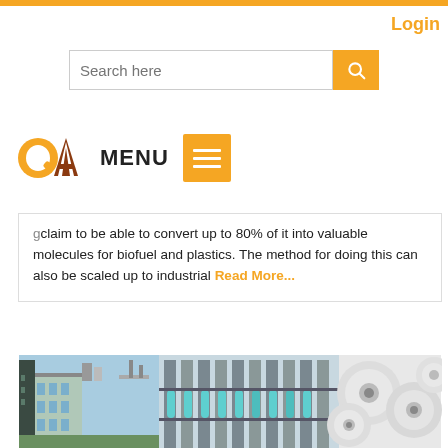Login
Search here
[Figure (logo): QA company logo — stylized orange and brown letters QA]
MENU
claim to be able to convert up to 80% of it into valuable molecules for biofuel and plastics. The method for doing this can also be scaled up to industrial Read More...
[Figure (photo): Composite photo showing industrial facility building on left, paper/textile manufacturing machinery in center, and large rolls of white paper/material on right]